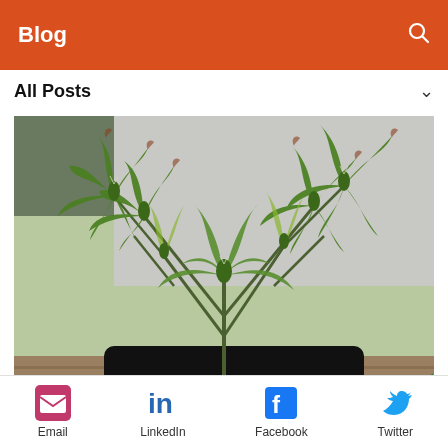Blog
All Posts
[Figure (photo): Close-up photograph of cannabis/marijuana plants with green serrated leaves and red/brown tips, growing in a dark pot on what appears to be a wooden surface outdoors]
Email  LinkedIn  Facebook  Twitter